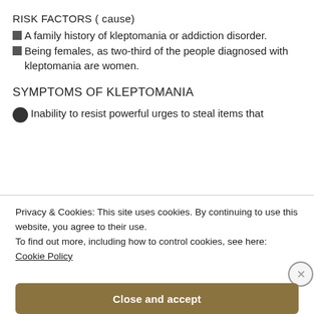RISK FACTORS ( cause)
A family history of kleptomania or addiction disorder.
Being females, as two-third of the people diagnosed with kleptomania are women.
SYMPTOMS OF KLEPTOMANIA
Inability to resist powerful urges to steal items that
Privacy & Cookies: This site uses cookies. By continuing to use this website, you agree to their use.
To find out more, including how to control cookies, see here:
Cookie Policy
Close and accept